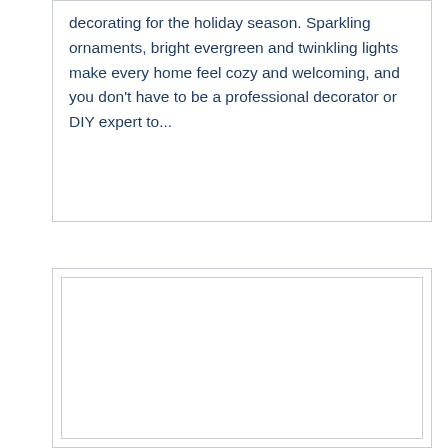decorating for the holiday season. Sparkling ornaments, bright evergreen and twinkling lights make every home feel cozy and welcoming, and you don't have to be a professional decorator or DIY expert to...
[Figure (other): Empty white box with a light gray border, appearing to be a placeholder image area.]